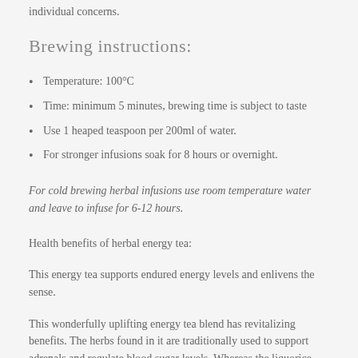Please consult with your health care practitioner for individual concerns.
Brewing instructions:
Temperature: 100°C
Time: minimum 5 minutes, brewing time is subject to taste
Use 1 heaped teaspoon per 200ml of water.
For stronger infusions soak for 8 hours or overnight.
For cold brewing herbal infusions use room temperature water and leave to infuse for 6-12 hours.
Health benefits of herbal energy tea:
This energy tea supports endured energy levels and enlivens the sense.
This wonderfully uplifting energy tea blend has revitalizing benefits. The herbs found in it are traditionally used to support adrenals and regulate blood sugar levels. Whereas the liquorice and the siberian ginseng support your energy